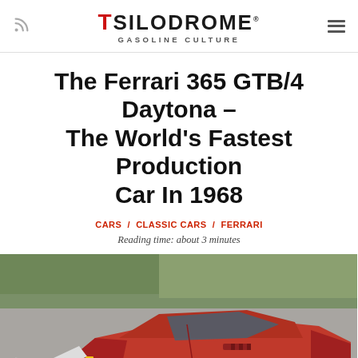SILODROME GASOLINE CULTURE
The Ferrari 365 GTB/4 Daytona – The World's Fastest Production Car In 1968
CARS / CLASSIC CARS / FERRARI
Reading time: about 3 minutes
[Figure (photo): Red Ferrari 365 GTB/4 Daytona photographed from above at an angle, on a gray asphalt surface with trees in the background]